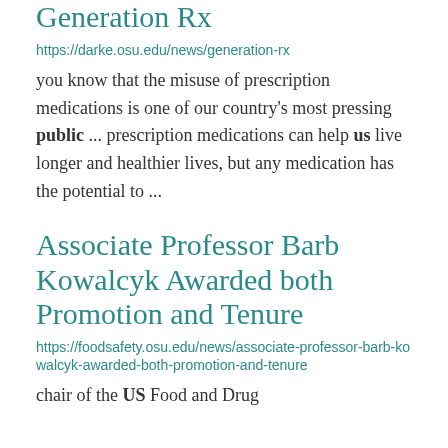Generation Rx
https://darke.osu.edu/news/generation-rx
you know that the misuse of prescription medications is one of our country's most pressing public ... prescription medications can help us live longer and healthier lives, but any medication has the potential to ...
Associate Professor Barb Kowalcyk Awarded both Promotion and Tenure
https://foodsafety.osu.edu/news/associate-professor-barb-kowalcyk-awarded-both-promotion-and-tenure
chair of the US Food and Drug Administration Science Board...